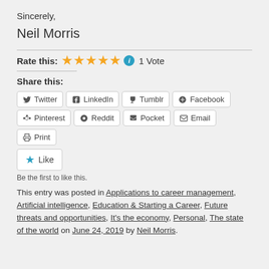Sincerely,
Neil Morris
Rate this: ★★★★★ ℹ 1 Vote
Share this:
Twitter
LinkedIn
Tumblr
Facebook
Pinterest
Reddit
Pocket
Email
Print
Like
Be the first to like this.
This entry was posted in Applications to career management, Artificial intelligence, Education & Starting a Career, Future threats and opportunities, It's the economy, Personal, The state of the world on June 24, 2019 by Neil Morris.